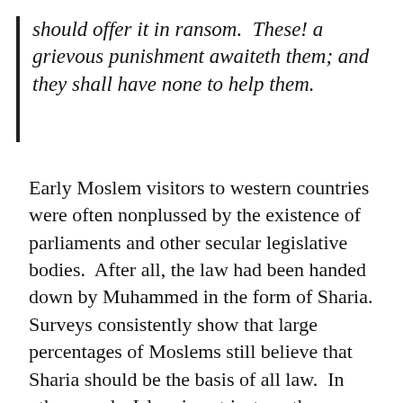should offer it in ransom.  These! a grievous punishment awaiteth them; and they shall have none to help them.
Early Moslem visitors to western countries were often nonplussed by the existence of parliaments and other secular legislative bodies.  After all, the law had been handed down by Muhammed in the form of Sharia.  Surveys consistently show that large percentages of Moslems still believe that Sharia should be the basis of all law.  In other words, Islam is not just another religion.  Its dogmas apply as much in the realm of politics as they do in theology.  As Milo Yiannopoulos wrote in his book, Dangerous,